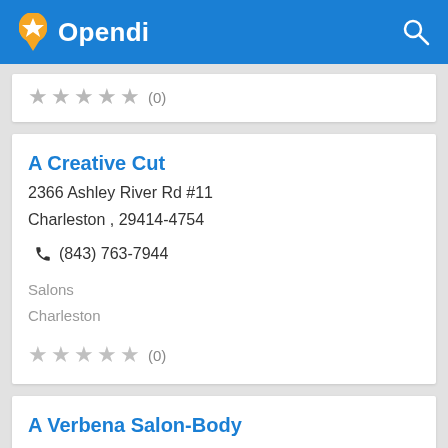Opendi
★★★★★ (0)
A Creative Cut
2366 Ashley River Rd #11
Charleston , 29414-4754
☎ (843) 763-7944
Salons
Charleston
★★★★★ (0)
A Verbena Salon-Body
360 Concord St #106
Charleston , 29401-6353
☎ (843) 722-8887
Salons
Charleston